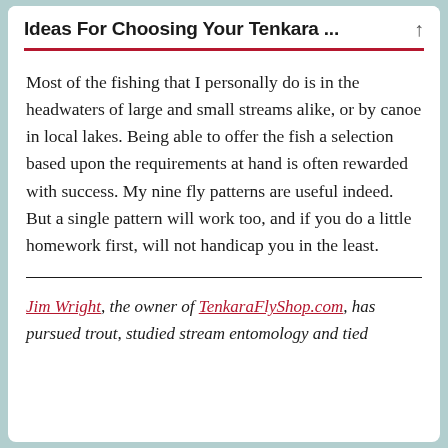Ideas For Choosing Your Tenkara ...
Most of the fishing that I personally do is in the headwaters of large and small streams alike, or by canoe in local lakes. Being able to offer the fish a selection based upon the requirements at hand is often rewarded with success. My nine fly patterns are useful indeed. But a single pattern will work too, and if you do a little homework first, will not handicap you in the least.
Jim Wright, the owner of TenkaraFlyShop.com, has pursued trout, studied stream entomology and tied